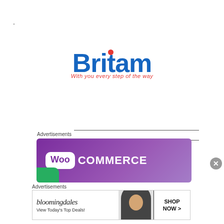.
[Figure (logo): Britam logo with tagline 'With you every step of the way']
Advertisements
[Figure (illustration): WooCommerce advertisement banner with purple background and WooCommerce logo]
Advertisements
[Figure (illustration): Bloomingdale's advertisement banner: 'View Today's Top Deals!' with SHOP NOW button and model with hat]